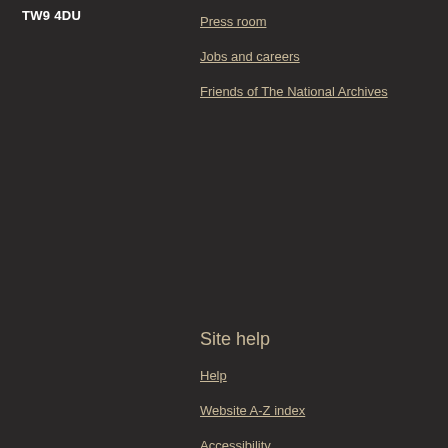TW9 4DU
Press room
Jobs and careers
Friends of The National Archives
Site help
Help
Website A-Z index
Accessibility